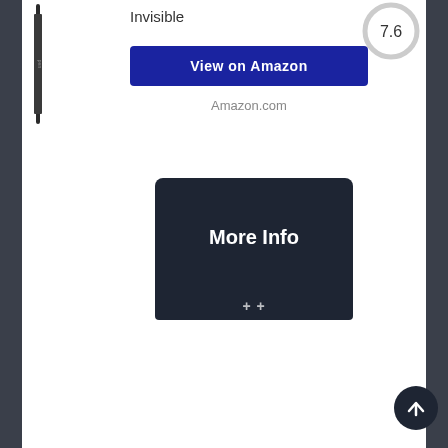Invisible
[Figure (other): Score circle showing 7.6]
View on Amazon
Amazon.com
More Info
[Figure (other): Scroll to top button with upward arrow]